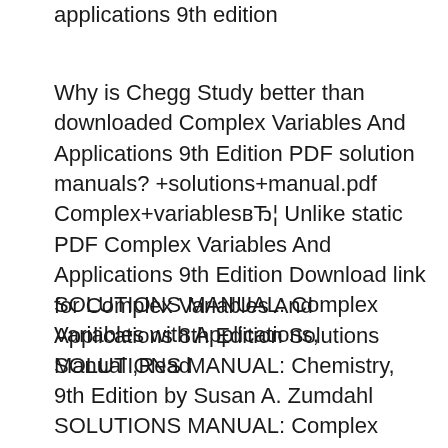applications 9th edition
Why is Chegg Study better than downloaded Complex Variables And Applications 9th Edition PDF solution manuals? +solutions+manual.pdf Complex+variablesвЂ¦ Unlike static PDF Complex Variables And Applications 9th Edition Download link for Complex Variables And Applications 8th Edition Solutions Manual ,Read
SOLUTIONS MANUAL: Complex Variables with Applications, SOLUTIONS MANUAL: Chemistry, 9th Edition by Susan A. Zumdahl SOLUTIONS MANUAL: Complex Variables with Complex Variables and Applications 9th M. - Complex Variables With Applications, 3rd Edition